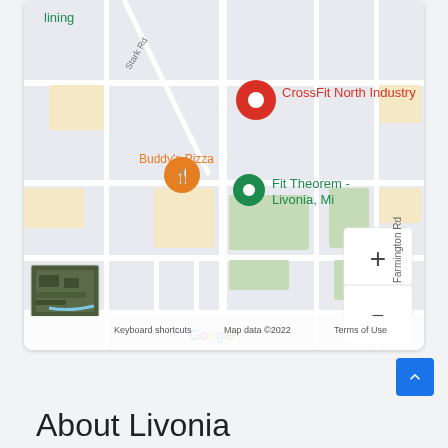[Figure (map): Google Maps screenshot showing Livonia, MI area with markers for CrossFit North Industry (red pin), Buddy's Pizza (orange restaurant pin), and Fit Theorem - Livonia, Mi (green pin). Roads including Stark Rd and Farmington Rd are visible. Zoom controls (+/-) and Google branding with 'Keyboard shortcuts', 'Map data ©2022', 'Terms of Use' are shown.]
About Livonia